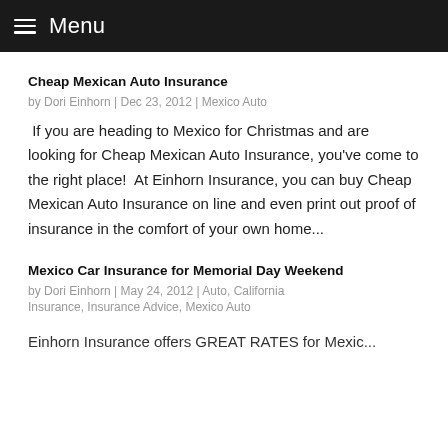Menu
Cheap Mexican Auto Insurance
by Dori Einhorn | Dec 23, 2012 | Mexico Auto
If you are heading to Mexico for Christmas and are looking for Cheap Mexican Auto Insurance, you've come to the right place!  At Einhorn Insurance, you can buy Cheap Mexican Auto Insurance on line and even print out proof of insurance in the comfort of your own home...
Mexico Car Insurance for Memorial Day Weekend
by Dori Einhorn | May 24, 2012 | Auto, California Insurance, Insurance Advice, Mexico Auto
Einhorn Insurance offers GREAT RATES for Mexico...